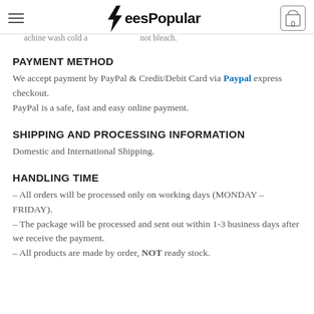TeesPopular — Machine wash cold and do not bleach.
PAYMENT METHOD
We accept payment by PayPal & Credit/Debit Card via Paypal express checkout.
PayPal is a safe, fast and easy online payment.
SHIPPING AND PROCESSING INFORMATION
Domestic and International Shipping.
HANDLING TIME
– All orders will be processed only on working days (MONDAY – FRIDAY).
– The package will be processed and sent out within 1-3 business days after we receive the payment.
– All products are made by order, NOT ready stock.